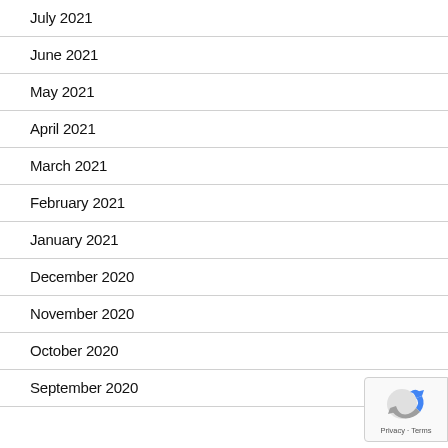July 2021
June 2021
May 2021
April 2021
March 2021
February 2021
January 2021
December 2020
November 2020
October 2020
September 2020
[Figure (logo): reCAPTCHA badge with Privacy and Terms links]